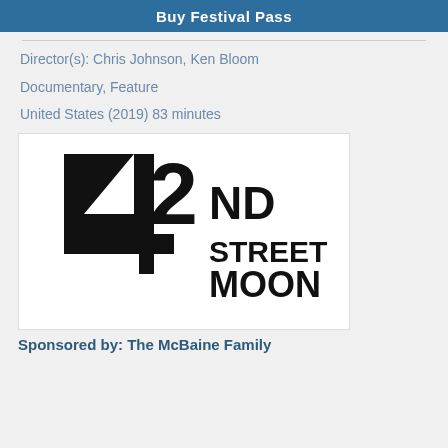Buy Festival Pass
Director(s): Chris Johnson, Ken Bloom
Documentary, Feature
United States (2019) 83 minutes
[Figure (logo): 42nd Street Moon logo — large stylized number 42 with 'ND STREET MOON' text beside and below, black on white background]
Sponsored by: The McBaine Family